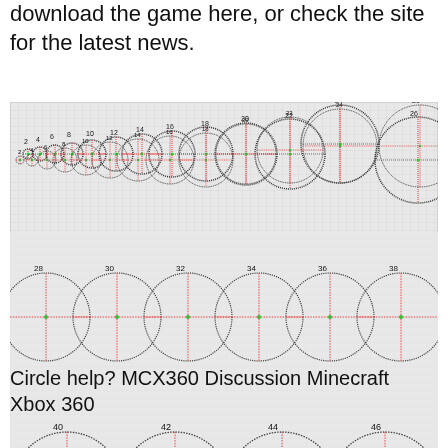download the game here, or check the site for the latest news.
[Figure (illustration): A Minecraft circle guide showing circles of various diameters from 2 to 52, labeled with even numbers. Each circle is drawn on a grid with red dashed crosshairs and a green center dot. Circles are arranged in rows: row 1 shows sizes 2-26, row 2 shows 28-38, row 3 shows 40-46, row 4 shows 48-52 with a blank white square in the 4th position.]
Circle help? MCX360 Discussion Minecraft Xbox 360